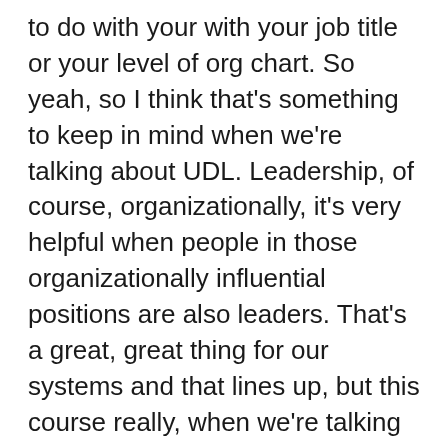to do with your with your job title or your level of org chart. So yeah, so I think that's something to keep in mind when we're talking about UDL. Leadership, of course, organizationally, it's very helpful when people in those organizationally influential positions are also leaders. That's a great, great thing for our systems and that lines up, but this course really, when we're talking about leadership, we're talking about UDL leaders who are in service of growing UDL and the people and systems where they're working. It's not the the management or the title. So to me what UDL leadership looks like, shocker, is part of it is modeling UDL. Right? Yes. We talked a lot about modeling, thinking that learning